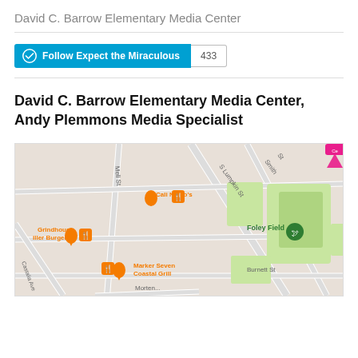David C. Barrow Elementary Media Center
[Figure (other): WordPress Follow button: 'Follow Expect the Miraculous' with follower count 433]
David C. Barrow Elementary Media Center, Andy Plemmons Media Specialist
[Figure (map): Google Map showing area near David C. Barrow Elementary with Foley Field, Cali N Tito's, Grindhouse Killer Burgers, Marker Seven Coastal Grill, S Lumpkin St, Smith St, Mell St, Burnett St visible]